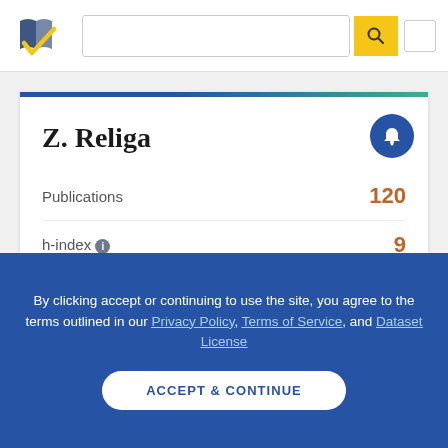[Figure (logo): Semantic Scholar logo — dark blue and gold checkmark/book icon]
Z. Religa
| Metric | Value |
| --- | --- |
| Publications | 120 |
| h-index | 9 |
| Citations | 285 |
| Highly Influential Citations | 6 |
By clicking accept or continuing to use the site, you agree to the terms outlined in our Privacy Policy, Terms of Service, and Dataset License
ACCEPT & CONTINUE